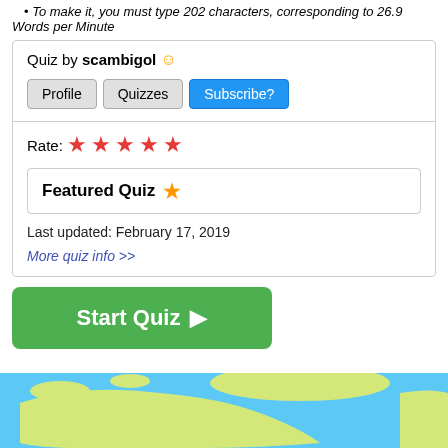To make it, you must type 202 characters, corresponding to 26.9 Words per Minute
Quiz by scambigol
Rate: ★★★★★
Featured Quiz ★
Last updated: February 17, 2019
More quiz info >>
[Figure (illustration): Green Start Quiz button with play triangle icon]
[Figure (map): Partial world map showing North America and Greenland with blue ocean and yellow-green landmasses]